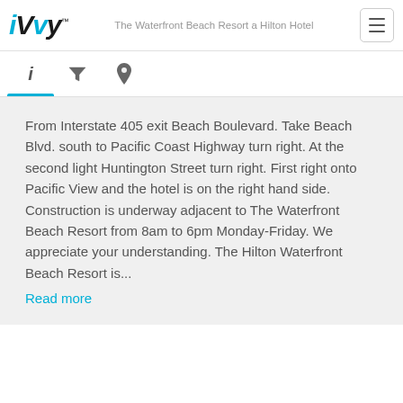iVvy — The Waterfront Beach Resort a Hilton Hotel
From Interstate 405 exit Beach Boulevard. Take Beach Blvd. south to Pacific Coast Highway turn right. At the second light Huntington Street turn right. First right onto Pacific View and the hotel is on the right hand side. Construction is underway adjacent to The Waterfront Beach Resort from 8am to 6pm Monday-Friday. We appreciate your understanding. The Hilton Waterfront Beach Resort is...
Read more